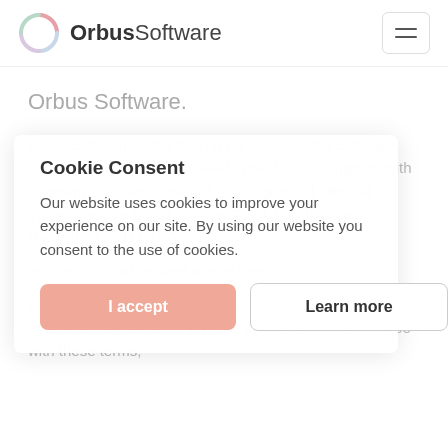OrbusSoftware
Orbus Software.
Orbus Software is the trading name of Seattle Software Limited, a company registered in the United Kingdom with company number 05396435 and registered office at Victoria House, 50-58 Victoria Road, Farnborough Hampshire GU14 7RG.
You can contact us here at any time.
By using this site, you agree that you accept these terms of use and agree to comply with them. If you do not agree with these terms,
Cookie Consent
Our website uses cookies to improve your experience on our site. By using our website you consent to the use of cookies.